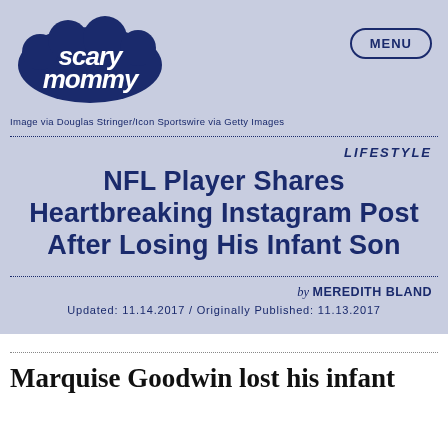[Figure (logo): Scary Mommy logo in dark blue cursive lettering on light background]
Image via Douglas Stringer/Icon Sportswire via Getty Images
LIFESTYLE
NFL Player Shares Heartbreaking Instagram Post After Losing His Infant Son
by MEREDITH BLAND
Updated: 11.14.2017 / Originally Published: 11.13.2017
Marquise Goodwin lost his infant